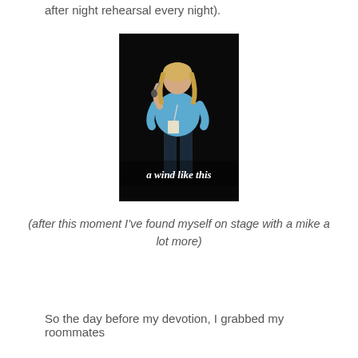after night rehearsal every night).
[Figure (photo): A person standing on a dark stage holding a microphone, wearing a light blue shirt and jeans with a lanyard/badge. Text overlay reads 'a wind like this' in italic white text at the bottom of the image.]
(after this moment I've found myself on stage with a mike a lot more)
So the day before my devotion, I grabbed my roommates